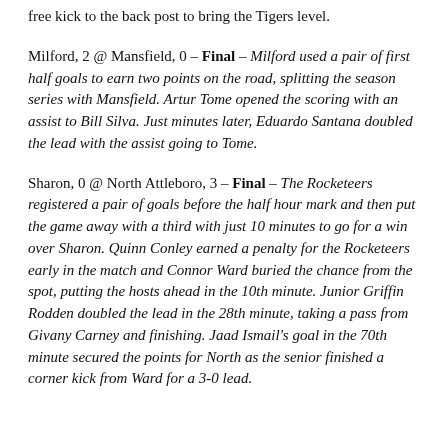free kick to the back post to bring the Tigers level.
Milford, 2 @ Mansfield, 0 – Final – Milford used a pair of first half goals to earn two points on the road, splitting the season series with Mansfield. Artur Tome opened the scoring with an assist to Bill Silva. Just minutes later, Eduardo Santana doubled the lead with the assist going to Tome.
Sharon, 0 @ North Attleboro, 3 – Final – The Rocketeers registered a pair of goals before the half hour mark and then put the game away with a third with just 10 minutes to go for a win over Sharon. Quinn Conley earned a penalty for the Rocketeers early in the match and Connor Ward buried the chance from the spot, putting the hosts ahead in the 10th minute. Junior Griffin Rodden doubled the lead in the 28th minute, taking a pass from Givany Carney and finishing. Jaad Ismail's goal in the 70th minute secured the points for North as the senior finished a corner kick from Ward for a 3-0 lead.